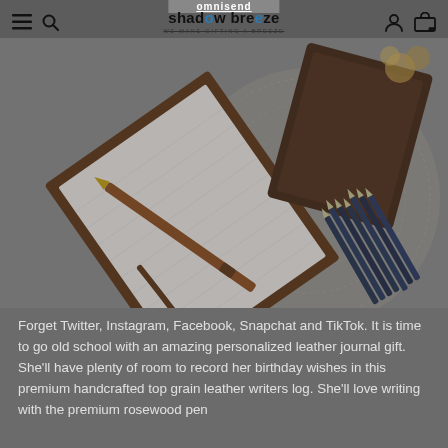omnisend | shadow breeze — WE MAKE GIFTING A BREEZE
[Figure (photo): Leather journal/notebook with a rosewood pen and multiple colored pens/pencils arranged on a lace doily surface, photographed from above at an angle]
Forget Twitter, Instagram, Facebook, Snapchat and TikTok. It is time to go old school with an amazing personalized leather journal gift. She'll have plenty of room to record her birthday wishes in this premium handcrafted top grain leather writers log. She'll love writing with the premium rosewood pen